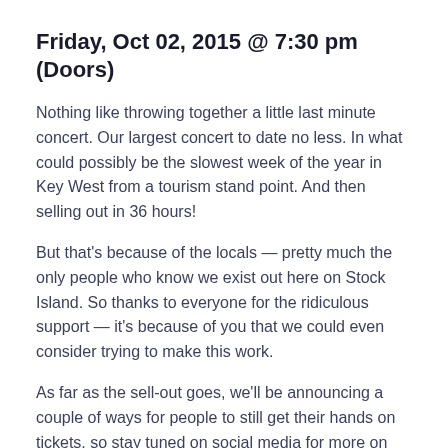Friday, Oct 02, 2015 @ 7:30 pm (Doors)
Nothing like throwing together a little last minute concert. Our largest concert to date no less. In what could possibly be the slowest week of the year in Key West from a tourism stand point. And then selling out in 36 hours!
But that's because of the locals — pretty much the only people who know we exist out here on Stock Island. So thanks to everyone for the ridiculous support — it's because of you that we could even consider trying to make this work.
As far as the sell-out goes, we'll be announcing a couple of ways for people to still get their hands on tickets, so stay tuned on social media for more on that.
For those of you that acted fast, here's some day-of info worth noting…
First off, we are trying hard to pull together a shuttle system so that we can alleviate parking issues and so that people can enjoy a few extras drinks during the show. We'll follow up on this as soon as we have worked something out. Even if you do not intend on taking the shuttle, please consider carpooling, taking a cab, biking or walking. Parking will not be available on Front Street—we'll be keeping it